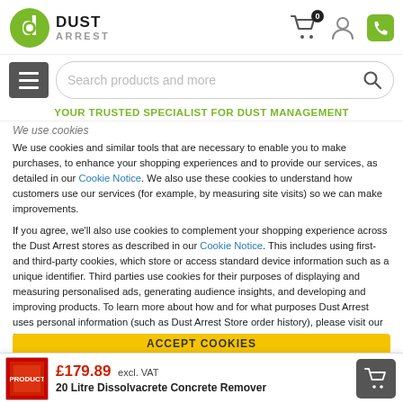[Figure (logo): Dust Arrest logo: green circular D icon with white cutout, bold DUST ARREST text]
[Figure (screenshot): Navigation icons: shopping cart with badge 0, user profile icon, green phone icon]
[Figure (screenshot): Hamburger menu button (grey) and search bar with placeholder 'Search products and more' and magnifying glass icon]
YOUR TRUSTED SPECIALIST FOR DUST MANAGEMENT
We use cookies
We use cookies and similar tools that are necessary to enable you to make purchases, to enhance your shopping experiences and to provide our services, as detailed in our Cookie Notice. We also use these cookies to understand how customers use our services (for example, by measuring site visits) so we can make improvements.
If you agree, we'll also use cookies to complement your shopping experience across the Dust Arrest stores as described in our Cookie Notice. This includes using first- and third-party cookies, which store or access standard device information such as a unique identifier. Third parties use cookies for their purposes of displaying and measuring personalised ads, generating audience insights, and developing and improving products. To learn more about how and for what purposes Dust Arrest uses personal information (such as Dust Arrest Store order history), please visit our Privacy Notice.
ACCEPT COOKIES
£179.89 excl. VAT
20 Litre Dissolvacrete Concrete Remover